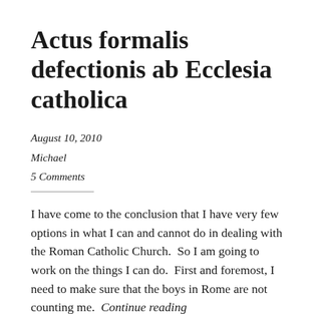Actus formalis defectionis ab Ecclesia catholica
August 10, 2010
Michael
5 Comments
I have come to the conclusion that I have very few options in what I can and cannot do in dealing with the Roman Catholic Church.  So I am going to work on the things I can do.  First and foremost, I need to make sure that the boys in Rome are not counting me.  Continue reading